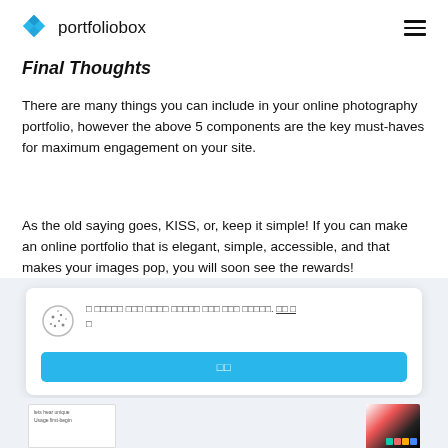portfoliobox
Final Thoughts
There are many things you can include in your online photography portfolio, however the above 5 components are the key must-haves for maximum engagement on your site.
As the old saying goes, KISS, or, keep it simple! If you can make an online portfolio that is elegant, simple, accessible, and that makes your images pop, you will soon see the rewards!
Cookie consent notice with accept button